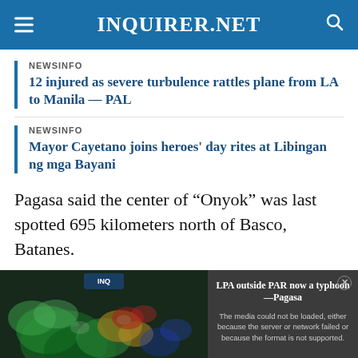INQUIRER.NET
NEWSINFO
12 injured as severe turbulence rattles plane from LA to Manila — PAL
NEWSINFO
Mayor Cayetano joins heroes' day rites at Libingan ng mga Bayani
Pagasa said the center of “Onyok” was last spotted 695 kilometers north of Basco, Batanes.
[Figure (screenshot): Video player showing LPA outside PAR now a typhoon - Pagasa, with a media error overlay reading: The media could not be loaded, either because the server or network failed or because the format is not supported. Left side shows a radar/satellite image with colorful blobs. Bottom overlay text: LPA OUTSIDE PAR NOW A TYPHOON –PAGASA. A close button (x) appears at top right of overlay, and an X button at the bottom center.]